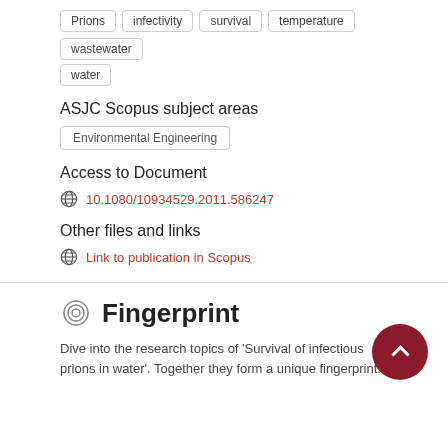Prions
infectivity
survival
temperature
wastewater
water
ASJC Scopus subject areas
Environmental Engineering
Access to Document
10.1080/10934529.2011.586247
Other files and links
Link to publication in Scopus
Fingerprint
Dive into the research topics of 'Survival of infectious prions in water'. Together they form a unique fingerprint.